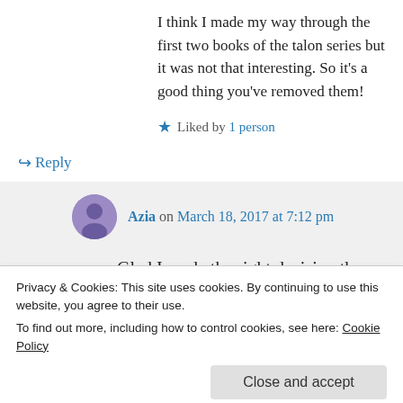I think I made my way through the first two books of the talon series but it was not that interesting. So it's a good thing you've removed them!
★ Liked by 1 person
↳ Reply
Azia on March 18, 2017 at 7:12 pm
Glad I made the right decision then haha XD
Privacy & Cookies: This site uses cookies. By continuing to use this website, you agree to their use.
To find out more, including how to control cookies, see here: Cookie Policy
Close and accept
TeacherofYA on March 18, 2017 at 10:25 am